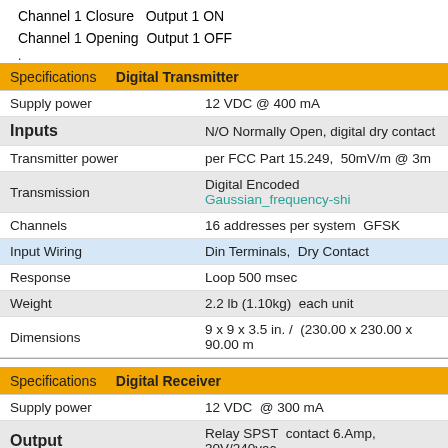Channel 1 Closure   Output 1 ON
Channel 1 Opening  Output 1 OFF
.
| Specifications   Digital Transmitter |  |
| --- | --- |
| Supply power | 12 VDC @ 400 mA |
| Inputs | N/O Normally Open, digital dry contact |
| Transmitter power | per FCC Part 15.249,  50mV/m @ 3m |
| Transmission | Digital Encoded   Gaussian_frequency-shi |
| Channels | 16 addresses per system  GFSK |
| Input Wiring | Din Terminals,  Dry Contact |
| Response | Loop 500 msec |
| Weight | 2.2 lb (1.10kg)  each unit |
| Dimensions | 9 x 9 x 3.5 in. /  (230.00 x 230.00 x 90.00 m |
| Specifications   Digital Receiver |  |
| --- | --- |
| Supply power | 12 VDC  @ 300 mA |
| Output | Relay SPST  contact 6.Amp, 30V/240vac |
| Frequency | 433 MHz  • License free Industrial ISM ba |
| Configuration | DIP switch factory preset |
| Compliance | FCC CFR part 15.247, 95 sub E |
| Wiring | Components mounted on 35mm DIN rai |